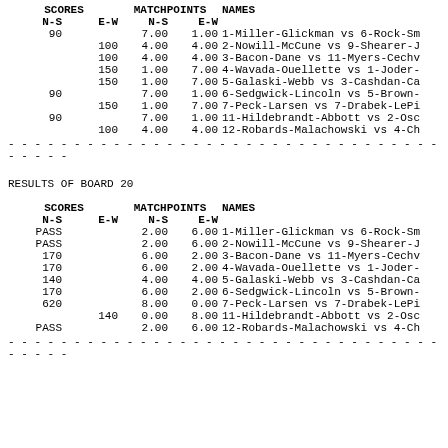| SCORES N-S | SCORES E-W | MATCHPOINTS N-S | MATCHPOINTS E-W | NAMES |
| --- | --- | --- | --- | --- |
| 90 |  | 7.00 | 1.00 | 1-Miller-Glickman vs 6-Rock-Sm |
|  | 100 | 4.00 | 4.00 | 2-Nowill-McCune vs 9-Shearer-J |
|  | 100 | 4.00 | 4.00 | 3-Bacon-Dane vs 11-Myers-Cechv |
|  | 150 | 1.00 | 7.00 | 4-Wavada-Ouellette vs 1-Joder- |
|  | 150 | 1.00 | 7.00 | 5-Galaski-Webb vs 3-Cashdan-Ca |
| 90 |  | 7.00 | 1.00 | 6-Sedgwick-Lincoln vs 5-Brown- |
|  | 150 | 1.00 | 7.00 | 7-Peck-Larsen vs 7-Drabek-LePi |
| 90 |  | 7.00 | 1.00 | 11-Hildebrandt-Abbott vs 2-Osc |
|  | 100 | 4.00 | 4.00 | 12-Robards-Malachowski vs 4-Ch |
RESULTS OF BOARD 20
| SCORES N-S | SCORES E-W | MATCHPOINTS N-S | MATCHPOINTS E-W | NAMES |
| --- | --- | --- | --- | --- |
| PASS |  | 2.00 | 6.00 | 1-Miller-Glickman vs 6-Rock-Sm |
| PASS |  | 2.00 | 6.00 | 2-Nowill-McCune vs 9-Shearer-J |
| 170 |  | 6.00 | 2.00 | 3-Bacon-Dane vs 11-Myers-Cechv |
| 170 |  | 6.00 | 2.00 | 4-Wavada-Ouellette vs 1-Joder- |
| 140 |  | 4.00 | 4.00 | 5-Galaski-Webb vs 3-Cashdan-Ca |
| 170 |  | 6.00 | 2.00 | 6-Sedgwick-Lincoln vs 5-Brown- |
| 620 |  | 8.00 | 0.00 | 7-Peck-Larsen vs 7-Drabek-LePi |
|  | 140 | 0.00 | 8.00 | 11-Hildebrandt-Abbott vs 2-Osc |
| PASS |  | 2.00 | 6.00 | 12-Robards-Malachowski vs 4-Ch |